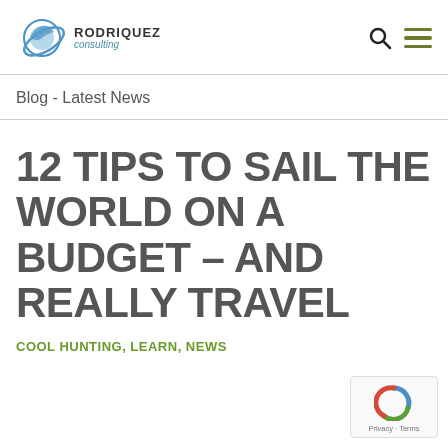RODRIQUEZ consulting
Blog - Latest News
12 TIPS TO SAIL THE WORLD ON A BUDGET – AND REALLY TRAVEL
COOL HUNTING, LEARN, NEWS